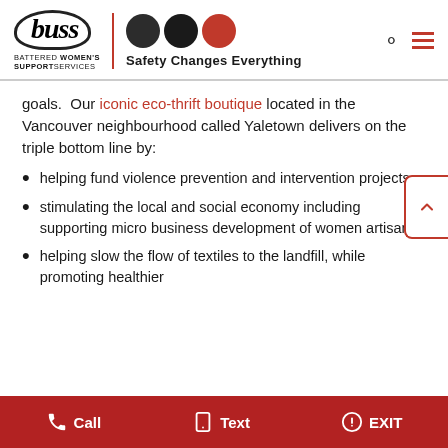[Figure (logo): BWSS (Battered Women's Support Services) logo with buss oval text, three circles (two dark, one red), and tagline 'Safety Changes Everything']
goals.  Our iconic eco-thrift boutique located in the Vancouver neighbourhood called Yaletown delivers on the triple bottom line by:
helping fund violence prevention and intervention projects,
stimulating the local and social economy including supporting micro business development of women artisans,
helping slow the flow of textiles to the landfill, while promoting healthier
Call   Text   EXIT